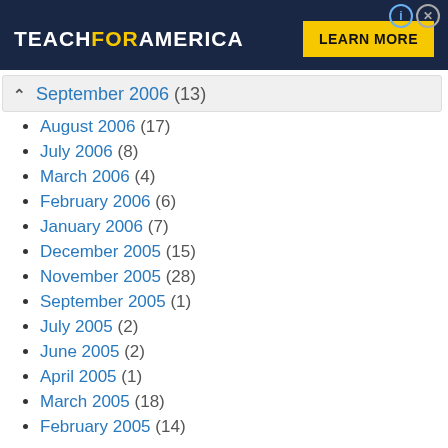[Figure (other): Teach For America advertisement banner with dark navy background, logo text 'TEACHFORAMERICA' with 'FOR' in yellow, and a yellow 'LEARN MORE' button. Info and close icons in top right.]
September 2006 (13)
August 2006 (17)
July 2006 (8)
March 2006 (4)
February 2006 (6)
January 2006 (7)
December 2005 (15)
November 2005 (28)
September 2005 (1)
July 2005 (2)
June 2005 (2)
April 2005 (1)
March 2005 (18)
February 2005 (14)